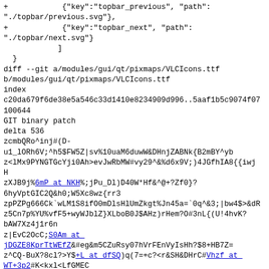+            {"key":"topbar_previous", "path": "./topbar/previous.svg"},
+            {"key":"topbar_next", "path": "./topbar/next.svg"}
            ]
  }
diff --git a/modules/gui/qt/pixmaps/VLCIcons.ttf b/modules/gui/qt/pixmaps/VLCIcons.ttf
index c20da679f6de38e5a546c33d1410e8234909d996..5aaf1b5c9074f07 100644
GIT binary patch
delta 536
zcmbQRo^inj#(D-u1_lORh6V;^h5$FW5Z|sv%10uaM6duwW&DHnjZABNk{B2mBY^yb z<lMx9PYNGTGcYji0Ah>evJwRbMW#vy29^&%d6x9V;)4JGfhIA8{{iwj H
zXJB9j%6mP_at_NKH%;jPu_Dl)D40W*Hf&^@+?Zf0}?
6hyVptGIC2Q&h0;W5Xc8wz{rr3 zpPZPg666Ck`wLM1S8if00mDlsHlUmZkgt%Jn45a=`0q^&3;|bw4$>&dR z5Cn7p%YU%vfF5+wyWJblZ}XLboB0J$AHz)rHem?0#3nL{(U!4hvK?
bAW7Xz4j1r6n
z|EvC20cC;S0Am_at_jDGZE8KprTtWEfZ&#eg&m5CZuRsy07hVrFEnVyIsHh?$8+HB7Z= z^CQ-BuX?8cl?>Y$+L_at_dfSQ)q(7=+c?<r&SH&DHrC#Vhzf_at_WT+3p2#K<kxl<LfGMEC
zX!@AV#rYZ4h1JdF8QJmbV__at__K8SO;+|&=lp(83C3|K%XrN`oh9k%~-Q}TJU9NAyA|g VWEdJ5!Wc%Av%{siVBx_g0syXfgiinf